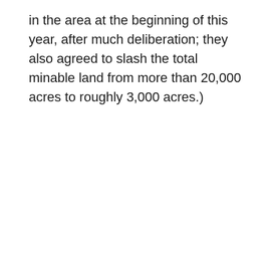in the area at the beginning of this year, after much deliberation; they also agreed to slash the total minable land from more than 20,000 acres to roughly 3,000 acres.)